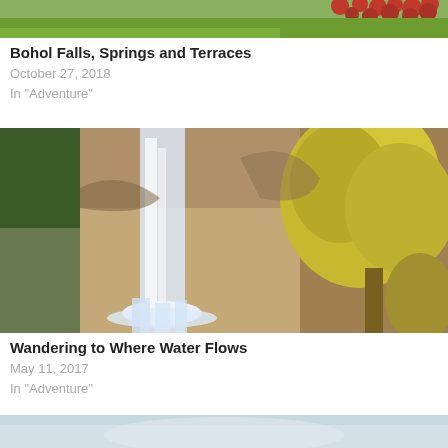[Figure (photo): Partial view of a field with red flowers and green grass at the top of the page]
Bohol Falls, Springs and Terraces
October 27, 2018
In "Adventure"
[Figure (photo): A waterfall cascading down rocky cliffs with yellow-green leafy trees on the right side]
Wandering to Where Water Flows
May 11, 2017
In "Adventure"
[Figure (photo): Partial view of another photo at the bottom of the page, light blue/grey tones]